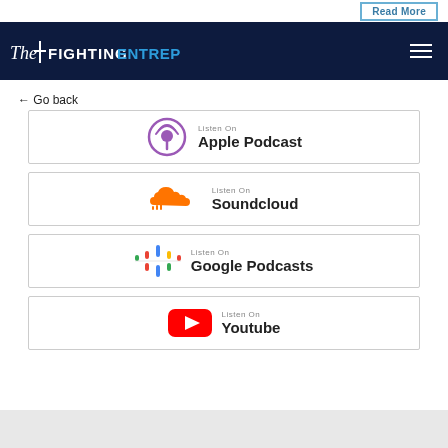Read More
[Figure (logo): The Fighting Entrepreneur logo in white and blue text on dark navy background with hamburger menu icon]
← Go back
[Figure (logo): Apple Podcast icon - purple circular podcast symbol. Listen On / Apple Podcast]
[Figure (logo): SoundCloud logo - orange cloud icon. Listen On / Soundcloud]
[Figure (logo): Google Podcasts icon - colorful bar chart style logo. Listen On / Google Podcasts]
[Figure (logo): YouTube logo - red play button. Listen On / Youtube]